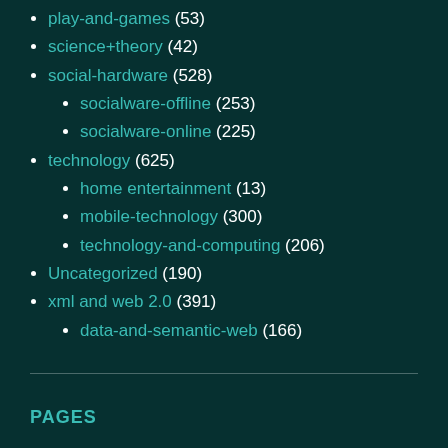play-and-games (53)
science+theory (42)
social-hardware (528)
socialware-offline (253)
socialware-online (225)
technology (625)
home entertainment (13)
mobile-technology (300)
technology-and-computing (206)
Uncategorized (190)
xml and web 2.0 (391)
data-and-semantic-web (166)
PAGES